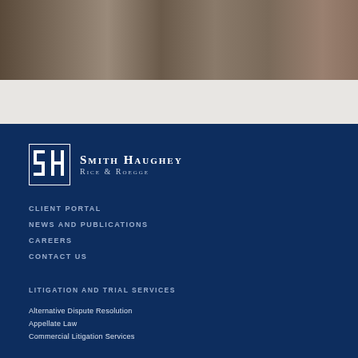[Figure (photo): Group photo of attorneys/lawyers at Smith Haughey Rice & Roegge, cropped to show torsos and faces in formal attire]
[Figure (logo): Smith Haughey Rice & Roegge law firm logo with SH monogram icon and firm name in serif font]
CLIENT PORTAL
NEWS AND PUBLICATIONS
CAREERS
CONTACT US
LITIGATION AND TRIAL SERVICES
Alternative Dispute Resolution
Appellate Law
Commercial Litigation Services